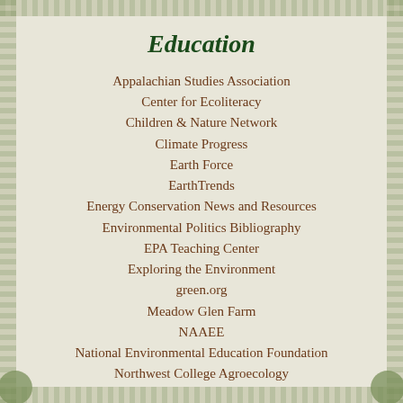Education
Appalachian Studies Association
Center for Ecoliteracy
Children & Nature Network
Climate Progress
Earth Force
EarthTrends
Energy Conservation News and Resources
Environmental Politics Bibliography
EPA Teaching Center
Exploring the Environment
green.org
Meadow Glen Farm
NAAEE
National Environmental Education Foundation
Northwest College Agroecology